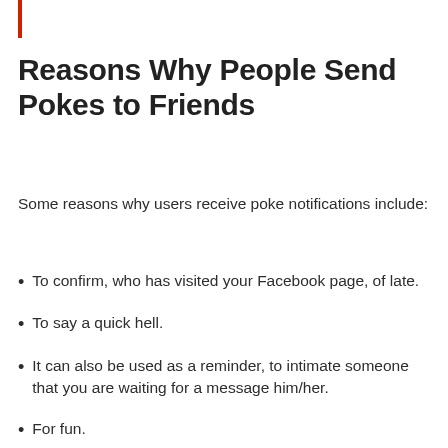Reasons Why People Send Pokes to Friends
Some reasons why users receive poke notifications include:
To confirm, who has visited your Facebook page, of late.
To say a quick hell.
It can also be used as a reminder, to intimate someone that you are waiting for a message him/her.
For fun.